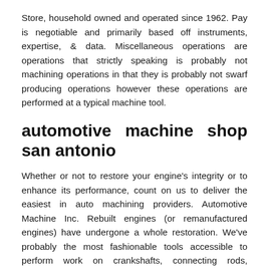Store, household owned and operated since 1962. Pay is negotiable and primarily based off instruments, expertise, & data. Miscellaneous operations are operations that strictly speaking is probably not machining operations in that they is probably not swarf producing operations however these operations are performed at a typical machine tool.
automotive machine shop san antonio
Whether or not to restore your engine's integrity or to enhance its performance, count on us to deliver the easiest in auto machining providers. Automotive Machine Inc. Rebuilt engines (or remanufactured engines) have undergone a whole restoration. We've probably the most fashionable tools accessible to perform work on crankshafts, connecting rods, flywheels, heads and blocks. All of our Efficiency Engines are